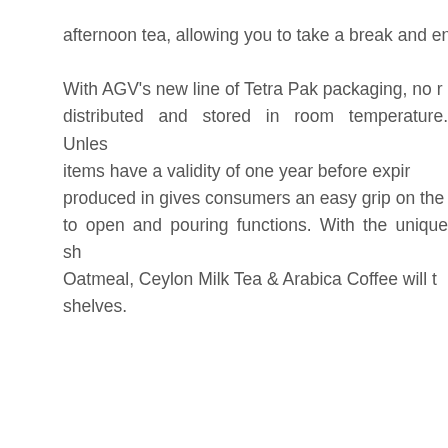afternoon tea, allowing you to take a break and enj... With AGV's new line of Tetra Pak packaging, no refrigeration needed — distributed and stored in room temperature. Unless opened, these items have a validity of one year before expiring. The shape it is produced in gives consumers an easy grip on the product, with easy to open and pouring functions. With the unique shape, AGV's Oatmeal, Ceylon Milk Tea & Arabica Coffee will turn heads on shelves.